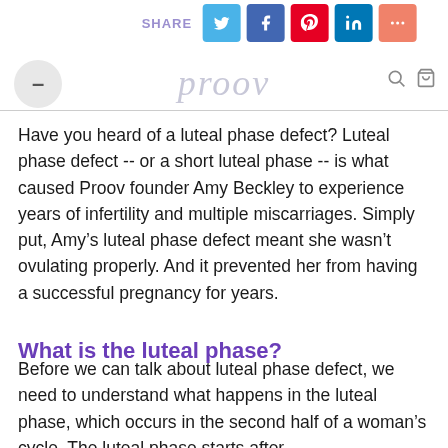SHARE | proov
Have you heard of a luteal phase defect? Luteal phase defect -- or a short luteal phase -- is what caused Proov founder Amy Beckley to experience years of infertility and multiple miscarriages. Simply put, Amy’s luteal phase defect meant she wasn’t ovulating properly. And it prevented her from having a successful pregnancy for years.
What is the luteal phase?
Before we can talk about luteal phase defect, we need to understand what happens in the luteal phase, which occurs in the second half of a woman’s cycle. The luteal phase starts after